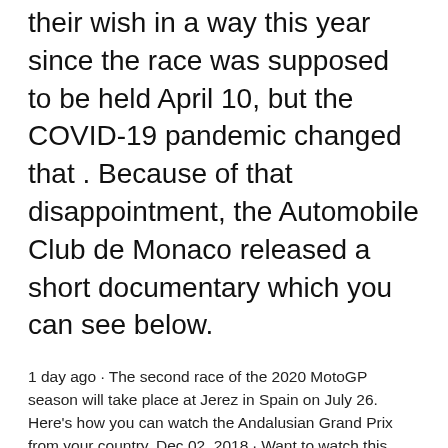Monaco Grand Prix to be cancelled. They got their wish in a way this year since the race was supposed to be held April 10, but the COVID-19 pandemic changed that . Because of that disappointment, the Automobile Club de Monaco released a short documentary which you can see below.
1 day ago · The second race of the 2020 MotoGP season will take place at Jerez in Spain on July 26. Here's how you can watch the Andalusian Grand Prix from your country. Dec 02, 2018 · Want to watch this again later? Sign in to add this video to a playlist. Sign in. More. Report. Why Grand Prix is (and isn't) the best racing film ever - Duration: 11:28. Jul 19, 2020 · The 2020 Spanish MotoGP live streams mark the start of a welcome new season: the return of the premier class of Grand Prix motorcycle racing. And they're almost under way. Jul 25, 2020 · F1 is returning to Imola in the autumn - and no driver